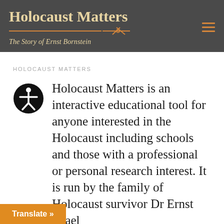Holocaust Matters – The Story of Ernst Bornstein
HOLOCAUST MATTERS
Holocaust Matters is an interactive educational tool for anyone interested in the Holocaust including schools and those with a professional or personal research interest. It is run by the family of Holocaust survivor Dr Ernst Israel n to showcase excerpts of in 'The Long Night' hich
[Figure (other): Accessibility icon — black circle with a white stick figure person with arms outstretched]
Translate »